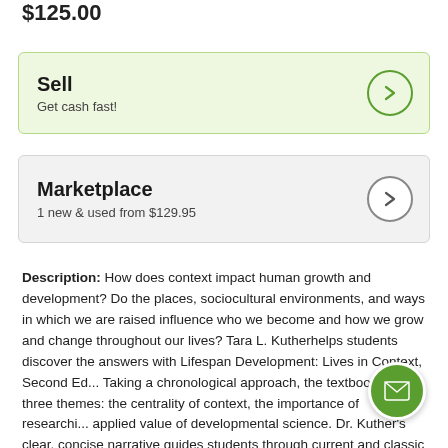$125.00
Sell
Get cash fast!
Marketplace
1 new & used from $129.95
Description: How does context impact human growth and development? Do the places, sociocultural environments, and ways in which we are raised influence who we become and how we grow and change throughout our lives? Tara L. Kutherhelps students discover the answers with Lifespan Development: Lives in Context, Second Ed... Taking a chronological approach, the textbook follows three themes: the centrality of context, the importance of research, applied value of developmental science. Dr. Kuther's clear, concise narrative guides students through current and classic studies and foundational theories while exploring real-world connections and culturally diverse perspectives. Case studies... More »